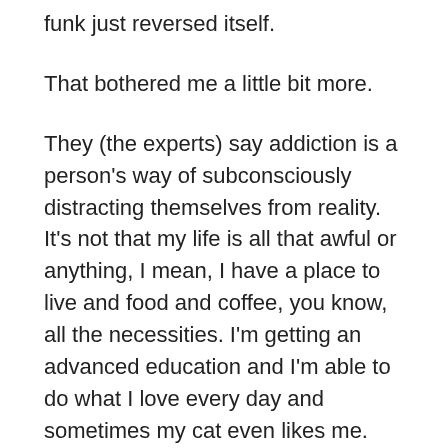funk just reversed itself.
That bothered me a little bit more.
They (the experts) say addiction is a person's way of subconsciously distracting themselves from reality. It's not that my life is all that awful or anything, I mean, I have a place to live and food and coffee, you know, all the necessities. I'm getting an advanced education and I'm able to do what I love every day and sometimes my cat even likes me. But sometimes, I'm hit with the reality that I'm a college graduate (double that), broke, unemployed and single, and that's not a fun recurring realization to have.
It is, however, the reality that hit me (again) as soon as I stopped writing for a few days. Which sort of made me wonder: am I addicted to writing? And if I am, is it really